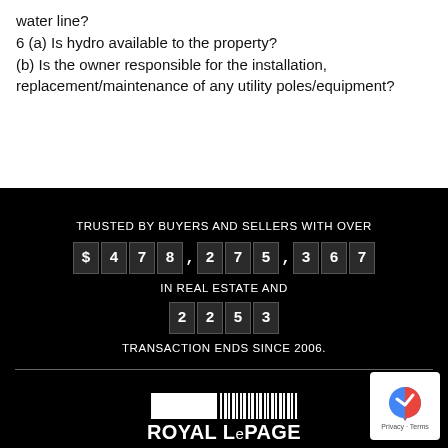water line?
6 (a) Is hydro available to the property?
(b) Is the owner responsible for the installation, replacement/maintenance of any utility poles/equipment?
TRUSTED BY BUYERS AND SELLERS WITH OVER
$478,275,367
IN REAL ESTATE AND
2253
TRANSACTION ENDS SINCE 2006.
[Figure (logo): Royal LePage logo with white rectangle and barcode-style vertical bars above text ROYAL LePAGE]
[Figure (logo): reCAPTCHA badge with blue/red arrow icon and Privacy - Terms text]